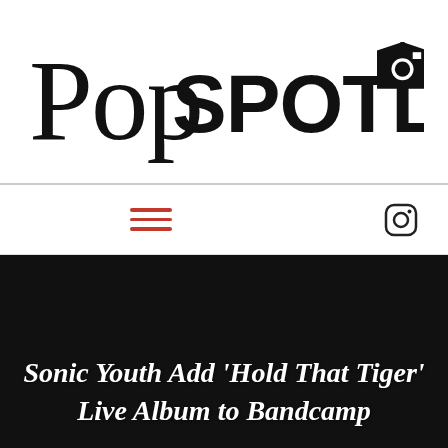[Figure (logo): PopSpotlight logo with handwritten 'Pop' script and bold 'SPOTLIGHT' text with a camera/flash icon]
[Figure (other): Navigation bar with red hamburger menu icon on left and Instagram icon on right]
Sonic Youth Add 'Hold That Tiger' Live Album to Bandcamp